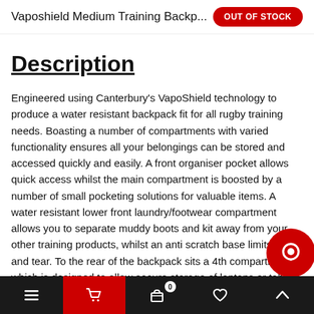Vaposhield Medium Training Backp...
Description
Engineered using Canterbury's VapoShield technology to produce a water resistant backpack fit for all rugby training needs. Boasting a number of compartments with varied functionality ensures all your belongings can be stored and accessed quickly and easily. A front organiser pocket allows quick access whilst the main compartment is boosted by a number of small pocketing solutions for valuable items. A water resistant lower front laundry/footwear compartment allows you to separate muddy boots and kit away from your other training products, whilst an anti scratch base limits wear and tear. To the rear of the backpack sits a 4th compartment which is designed to allow secure storage of laptops or tablets which is accessed via a separate zip opening. Two side mesh pockets provide further storage of waterbottles, protein shakers and smaller items. To ensure comple